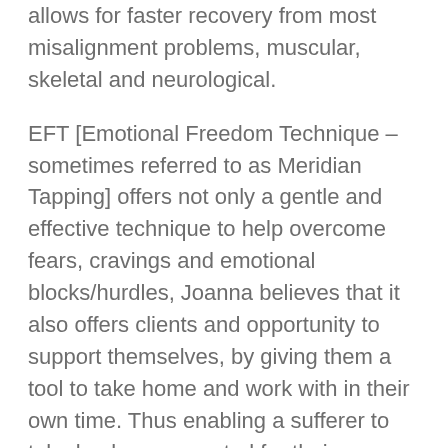allows for faster recovery from most misalignment problems, muscular, skeletal and neurological.
EFT [Emotional Freedom Technique – sometimes referred to as Meridian Tapping] offers not only a gentle and effective technique to help overcome fears, cravings and emotional blocks/hurdles, Joanna believes that it also offers clients and opportunity to support themselves, by giving them a tool to take home and work with in their own time. Thus enabling a sufferer to take back some control for their own health and wellbeing, giving them some independence in choice of how to approach and tackle certain day to day life problems.